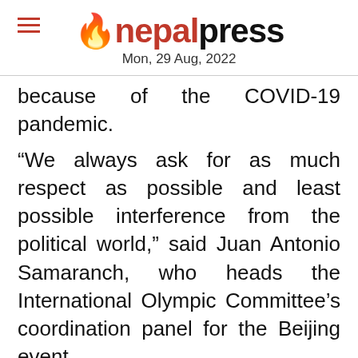nepalpress — Mon, 29 Aug, 2022
because of the COVID-19 pandemic.
“We always ask for as much respect as possible and least possible interference from the political world,” said Juan Antonio Samaranch, who heads the International Olympic Committee’s coordination panel for the Beijing event.
“We have to be reciprocal. We